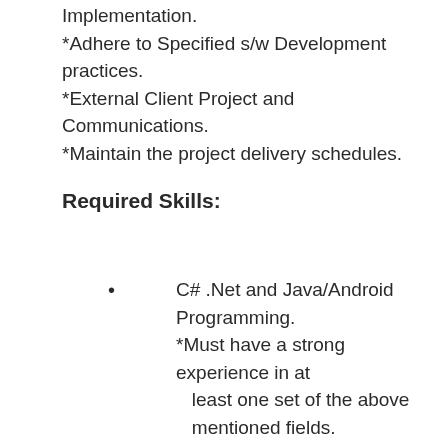Implementation.
*Adhere to Specified s/w Development practices.
*External Client Project and Communications.
*Maintain the project delivery schedules.
Required Skills:
C# .Net and Java/Android Programming.
*Must have a strong experience in at least one set of the above mentioned fields.
*Experience in Communication